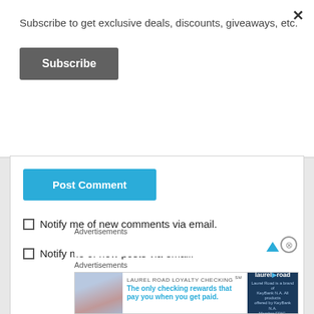Subscribe to get exclusive deals, discounts, giveaways, etc.
×
Subscribe
Post Comment
Notify me of new comments via email.
Notify me of new posts via email.
Advertisements
[Figure (screenshot): Advertisement box with up arrow and close button]
Advertisements
[Figure (infographic): Laurel Road Loyalty Checking advertisement banner: 'LAUREL ROAD LOYALTY CHECKING℠ - The only checking rewards that pay you when you get paid.' with woman photo and Laurel Road logo.]